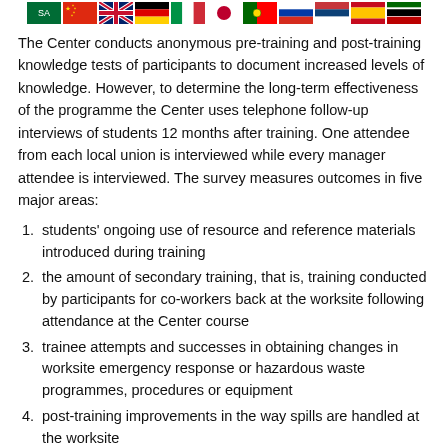[Figure (illustration): Row of national flags from various countries including Saudi Arabia, China, UK, Germany, Italy, Japan, Portugal, Russia, Serbia, Spain, and Kenya]
The Center conducts anonymous pre-training and post-training knowledge tests of participants to document increased levels of knowledge. However, to determine the long-term effectiveness of the programme the Center uses telephone follow-up interviews of students 12 months after training. One attendee from each local union is interviewed while every manager attendee is interviewed. The survey measures outcomes in five major areas:
students' ongoing use of resource and reference materials introduced during training
the amount of secondary training, that is, training conducted by participants for co-workers back at the worksite following attendance at the Center course
trainee attempts and successes in obtaining changes in worksite emergency response or hazardous waste programmes, procedures or equipment
post-training improvements in the way spills are handled at the worksite